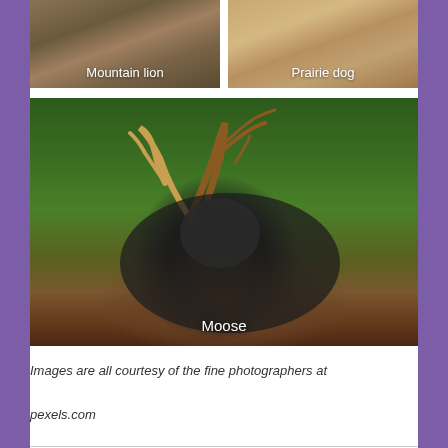[Figure (photo): Photo of a mountain lion with text label 'Mountain lion' overlaid at bottom center]
[Figure (photo): Photo of a prairie dog with text label 'Prairie dog' overlaid at bottom center]
[Figure (photo): Large photo of a moose lying in brush with green forest background; text label 'Moose' overlaid near bottom center]
Images are all courtesy of the fine photographers at pexels.com
8 thoughts on "Where The Wild